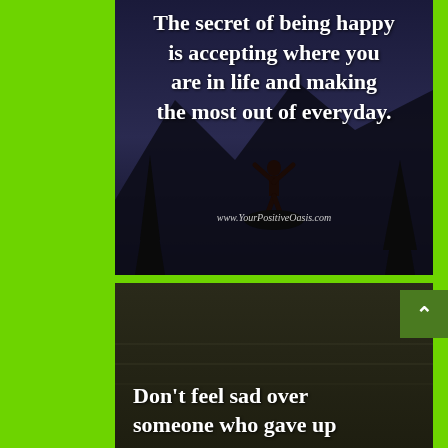[Figure (photo): Dark atmospheric photo of a person silhouetted with arms raised on a rock or mountain, with pine trees in background, overlaid with motivational quote text and website URL]
[Figure (photo): Dark olive/brown toned image, partially shown, with beginning of motivational quote text at the bottom]